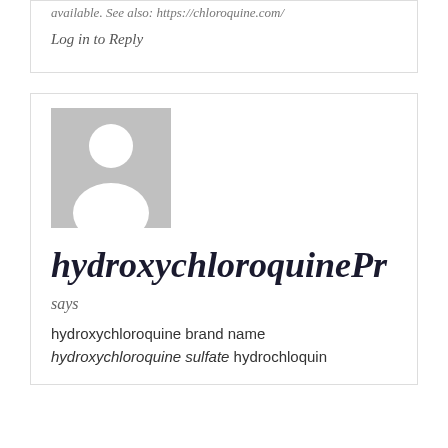available. See also: https://chloroquine.com/
Log in to Reply
[Figure (illustration): Generic user avatar placeholder: grey square background with white silhouette of a person (head circle and shoulders)]
hydroxychloroquinePr
says
hydroxychloroquine brand name hydroxychloroquine sulfate hydrochloquin